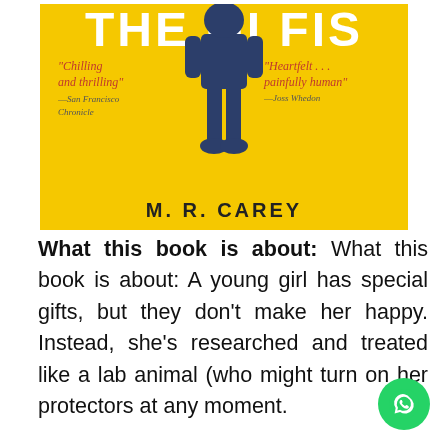[Figure (illustration): Book cover of a novel showing a yellow background with partial title text at top, a silhouette figure in dark clothing in the center, review quotes on left and right ('Chilling and thrilling' - San Francisco Chronicle, 'Heartfelt... painfully human' - Joss Whedon), and author name M. R. CAREY at the bottom.]
What this book is about: What this book is about: A young girl has special gifts, but they don't make her happy. Instead, she's researched and treated like a lab animal (who might turn on her protectors at any moment.